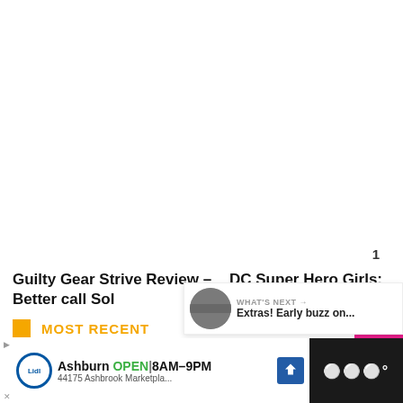Guilty Gear Strive Review – Better call Sol
DC Super Hero Girls: Teen Power Review – The Just-Us League
[Figure (infographic): Navigation previous/next buttons (< and >)]
MOST RECENT
[Figure (infographic): Heart/like button with count 1 and scroll-up pink button]
[Figure (infographic): What's Next panel with thumbnail and text 'Extras! Early buzz on...']
[Figure (infographic): Advertisement bar: Lidl - Ashburn OPEN 8AM-9PM, 44175 Ashbrook Marketpla...]